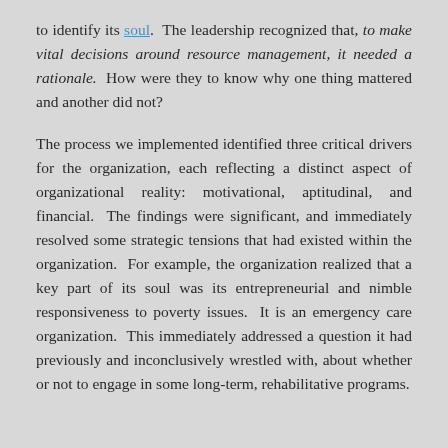to identify its soul. The leadership recognized that, to make vital decisions around resource management, it needed a rationale. How were they to know why one thing mattered and another did not?
The process we implemented identified three critical drivers for the organization, each reflecting a distinct aspect of organizational reality: motivational, aptitudinal, and financial. The findings were significant, and immediately resolved some strategic tensions that had existed within the organization. For example, the organization realized that a key part of its soul was its entrepreneurial and nimble responsiveness to poverty issues. It is an emergency care organization. This immediately addressed a question it had previously and inconclusively wrestled with, about whether or not to engage in some long-term, rehabilitative programs.